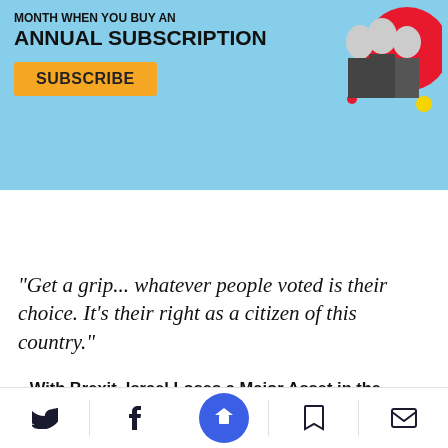[Figure (infographic): Light blue subscription banner with bold text 'ANNUAL SUBSCRIPTION', an orange SUBSCRIBE button, and an illustration of three politicians (black and white) with colorful circular graphic elements on the right side.]
[Figure (other): Audio player widget with dark circular play button, text 'Listen to this article now', time '06:33', globe icon, and 'Powered by Trinity Audio'.]
“Get a grip... whatever people voted is their choice. It’s their right as a citizen of this country.”
With Brexit, Israel Loses a Major Asset in the European Union
Brexit Is a Terrifi... pect for Britain's
[Figure (other): Bottom navigation bar with Twitter, Facebook, share (blue circle), bookmark, and email icons.]